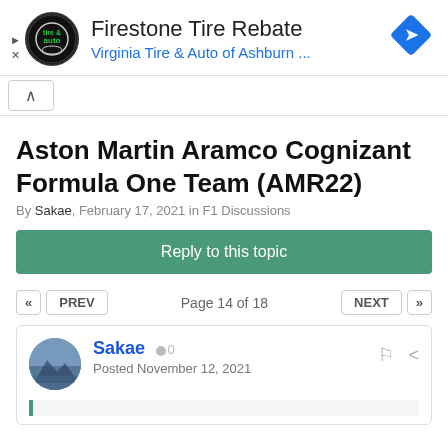[Figure (other): Ad banner for Firestone Tire Rebate featuring Virginia Tire & Auto of Ashburn logo, title text, and navigation icon]
Aston Martin Aramco Cognizant Formula One Team (AMR22)
By Sakae, February 17, 2021 in F1 Discussions
Reply to this topic
« PREV   Page 14 of 18   NEXT »
Sakae  ● 0
Posted November 12, 2021